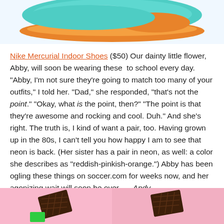[Figure (photo): Partial view of Nike Mercurial Indoor Shoes in teal/turquoise and orange colors, cropped at top of page]
Nike Mercurial Indoor Shoes ($50) Our dainty little flower, Abby, will soon be wearing these to school every day. "Abby, I'm not sure they're going to match too many of your outfits," I told her. "Dad," she responded, "that's not the point." "Okay, what is the point, then?" "The point is that they're awesome and rocking and cool. Duh." And she's right. The truth is, I kind of want a pair, too. Having grown up in the 80s, I can't tell you how happy I am to see that neon is back. (Her sister has a pair in neon, as well: a color she describes as "reddish-pinkish-orange.") Abby has been ogling these things on soccer.com for weeks now, and her agonizing wait will soon be over. — Andy
[Figure (photo): Two images side by side at the bottom of the page, each showing chocolate squares on colored backgrounds (pink/rose)]